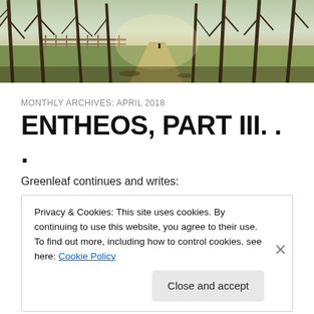[Figure (photo): Header photo of a tree-lined path or avenue in a park, bare winter trees casting shadows, a fence on the left, sunlight coming through trees, misty background]
MONTHLY ARCHIVES: APRIL 2018
ENTHEOS, PART III. . .
Greenleaf continues and writes:
Privacy & Cookies: This site uses cookies. By continuing to use this website, you agree to their use.
To find out more, including how to control cookies, see here: Cookie Policy
Close and accept